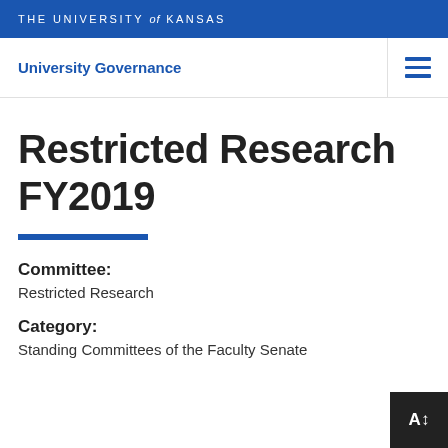THE UNIVERSITY of KANSAS
University Governance
Restricted Research FY2019
Committee:
Restricted Research
Category:
Standing Committees of the Faculty Senate